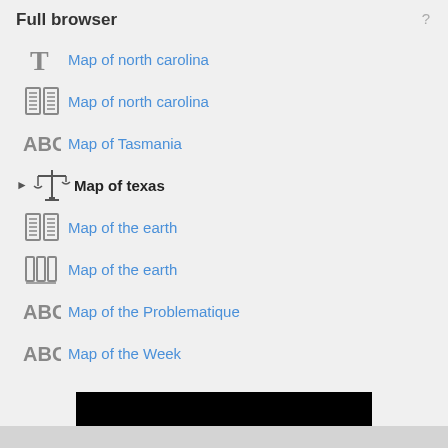Full browser
Map of north carolina
Map of north carolina
Map of Tasmania
Map of texas
Map of the earth
Map of the earth
Map of the Problematique
Map of the Week
[Figure (screenshot): Black video/media player area with a hamburger-menu button at the bottom center]